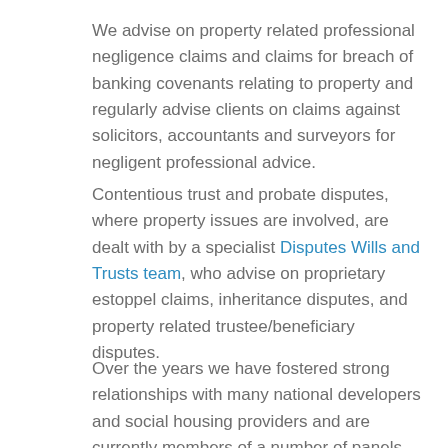We advise on property related professional negligence claims and claims for breach of banking covenants relating to property and regularly advise clients on claims against solicitors, accountants and surveyors for negligent professional advice.
Contentious trust and probate disputes, where property issues are involved, are dealt with by a specialist Disputes Wills and Trusts team, who advise on proprietary estoppel claims, inheritance disputes, and property related trustee/beneficiary disputes.
Over the years we have fostered strong relationships with many national developers and social housing providers and are currently members of a number of panels for the provision of legal services. The team